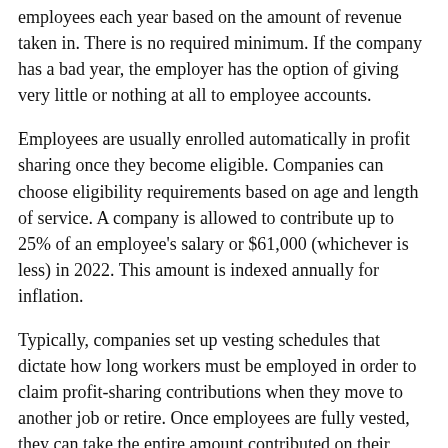employees each year based on the amount of revenue taken in. There is no required minimum. If the company has a bad year, the employer has the option of giving very little or nothing at all to employee accounts.
Employees are usually enrolled automatically in profit sharing once they become eligible. Companies can choose eligibility requirements based on age and length of service. A company is allowed to contribute up to 25% of an employee's salary or $61,000 (whichever is less) in 2022. This amount is indexed annually for inflation.
Typically, companies set up vesting schedules that dictate how long workers must be employed in order to claim profit-sharing contributions when they move to another job or retire. Once employees are fully vested, they can take the entire amount contributed on their behalf and roll it over to an IRA or to a new employer's qualified retirement plan.
If you participate in a profit-sharing plan, you may begin withdrawing funds after age 59½ without incurring a 10% income tax penalty. Withdrawals are taxed as ordinary income